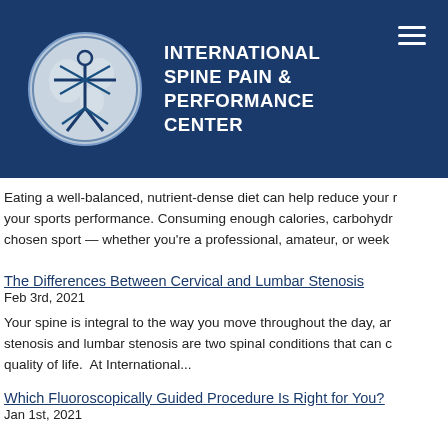[Figure (logo): International Spine Pain & Performance Center logo with Vitruvian-man style figure on globe background in a circle, with organization name text beside it]
Eating a well-balanced, nutrient-dense diet can help reduce your risk of injury and improve your sports performance. Consuming enough calories, carbohydrates... chosen sport — whether you're a professional, amateur, or weekend...
The Differences Between Cervical and Lumbar Stenosis
Feb 3rd, 2021
Your spine is integral to the way you move throughout the day, and stenosis and lumbar stenosis are two spinal conditions that can affect your quality of life.  At International...
Which Fluoroscopically Guided Procedure Is Right for You?
Jan 1st, 2021